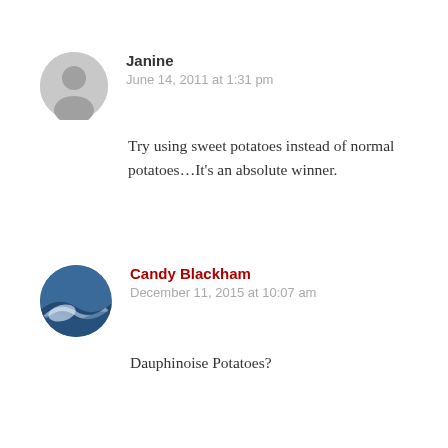Janine
June 14, 2011 at 1:31 pm
Try using sweet potatoes instead of normal potatoes…It's an absolute winner.
Candy Blackham
December 11, 2015 at 10:07 am
Dauphinoise Potatoes?